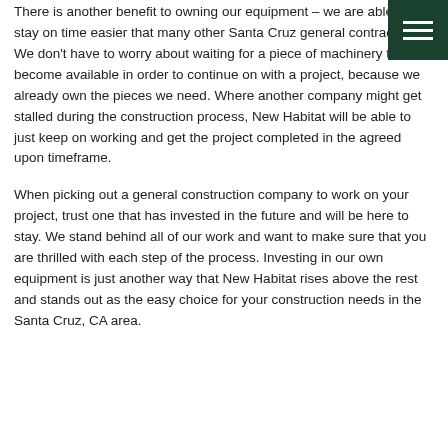There is another benefit to owning our equipment – we are able to stay on time easier that many other Santa Cruz general contractors. We don't have to worry about waiting for a piece of machinery to become available in order to continue on with a project, because we already own the pieces we need. Where another company might get stalled during the construction process, New Habitat will be able to just keep on working and get the project completed in the agreed upon timeframe.
When picking out a general construction company to work on your project, trust one that has invested in the future and will be here to stay. We stand behind all of our work and want to make sure that you are thrilled with each step of the process. Investing in our own equipment is just another way that New Habitat rises above the rest and stands out as the easy choice for your construction needs in the Santa Cruz, CA area.